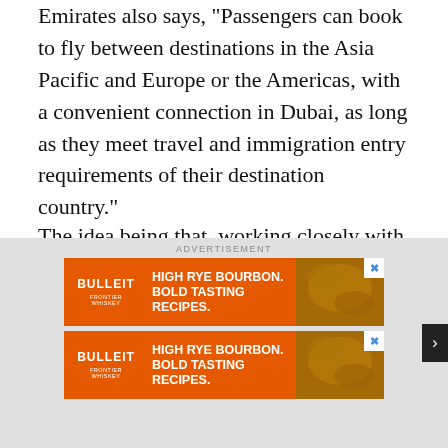Emirates also says, "Passengers can book to fly between destinations in the Asia Pacific and Europe or the Americas, with a convenient connection in Dubai, as long as they meet travel and immigration entry requirements of their destination country."
The idea being that, working closely with the UAE authorities, Emirates is taking a measured approach to flight resumption and “rebuilding connections between Dubai and the world.”
[Figure (other): Advertisement banner for Bulleit Frontier Whiskey showing two identical orange banners with 'HIGH RYE BOURBON. BOLD TASTING RECIPES.' text and food photography]